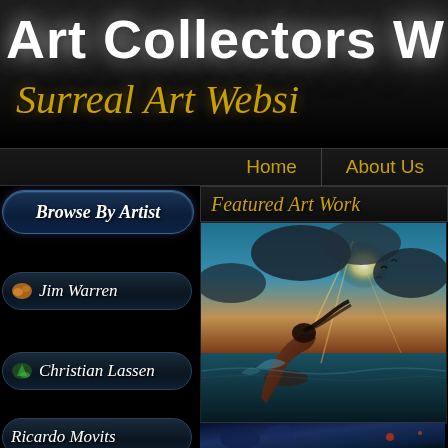Art Collectors W
Surreal Art Websi
Home | About Us
Browse By Artist
Jim Warren
Christian Lassen
Ricardo Movits
Featured Art Work
[Figure (photo): Surreal digital painting of a nude female figure arched backward against a dramatic sky with sunbeams, water, and dark clouds]
[Figure (photo): Partial view of another surreal artwork at bottom of page, dark blue tones]